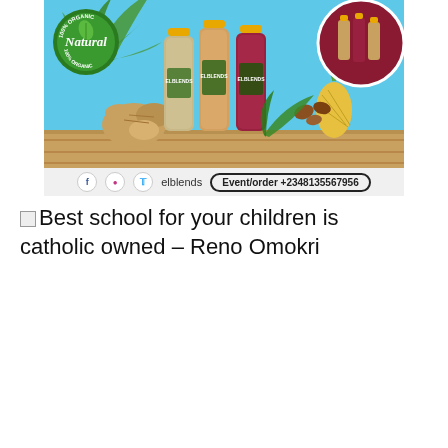[Figure (photo): Advertisement banner for 'elblends' organic juice drinks. Shows multiple juice bottles with yellow caps on a teal/blue background with palm leaves, ginger root, pineapple, and a Natural 100% Organic badge. A circular inset on the upper right shows bottles with dark red juice.]
[Figure (infographic): Social media bar with Facebook, Instagram, Twitter icons, 'elblends' text, and an 'Event/order +2348135567956' button.]
Best school for your children is catholic owned – Reno Omokri